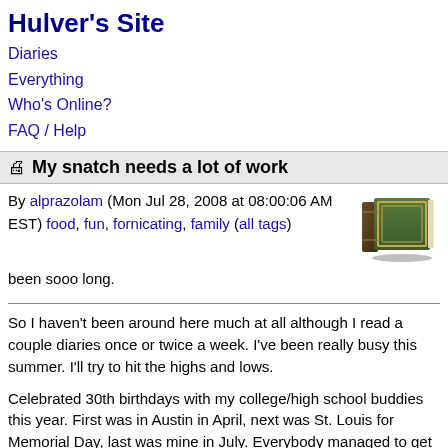Hulver's Site
Diaries
Everything
Who's Online?
FAQ / Help
My snatch needs a lot of work
By alprazolam (Mon Jul 28, 2008 at 08:00:06 AM EST) food, fun, fornicating, family (all tags)
[Figure (photo): A brown leather-bound book]
been sooo long.
So I haven't been around here much at all although I read a couple diaries once or twice a week. I've been really busy this summer. I'll try to hit the highs and lows.
Celebrated 30th birthdays with my college/high school buddies this year. First was in Austin in April, next was St. Louis for Memorial Day, last was mine in July. Everybody managed to get laid (varying degrees of unexpectedness) for their birthdays, which was cool.
Went to New Orleans in June with my sister, came in on a